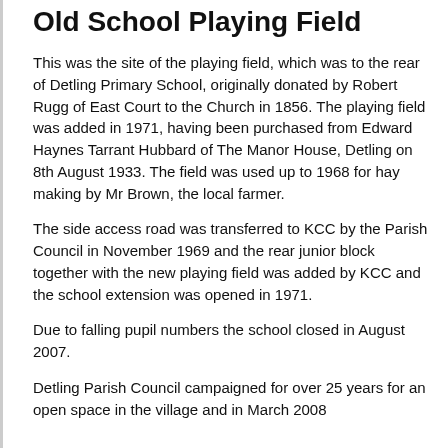Old School Playing Field
This was the site of the playing field, which was to the rear of Detling Primary School, originally donated by Robert Rugg of East Court to the Church in 1856. The playing field was added in 1971, having been purchased from Edward Haynes Tarrant Hubbard of The Manor House, Detling on 8th August 1933. The field was used up to 1968 for hay making by Mr Brown, the local farmer.
The side access road was transferred to KCC by the Parish Council in November 1969 and the rear junior block together with the new playing field was added by KCC and the school extension was opened in 1971.
Due to falling pupil numbers the school closed in August 2007.
Detling Parish Council campaigned for over 25 years for an open space in the village and in March 2008